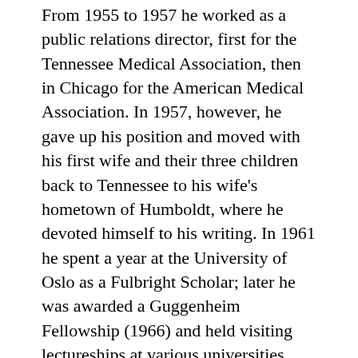From 1955 to 1957 he worked as a public relations director, first for the Tennessee Medical Association, then in Chicago for the American Medical Association. In 1957, however, he gave up his position and moved with his first wife and their three children back to Tennessee to his wife's hometown of Humboldt, where he devoted himself to his writing. In 1961 he spent a year at the University of Oslo as a Fulbright Scholar; later he was awarded a Guggenheim Fellowship (1966) and held visiting lectureships at various universities, including Memphis State (1969-71) and Vanderbilt (1987).
In 1971 Ford was acquitted of all charges in the shooting death of a black soldier who had parked at night in Ford's driveway and who, Ford believed, was threatening one of his sons. The incident attracted widespread attention, however, especially because the public...